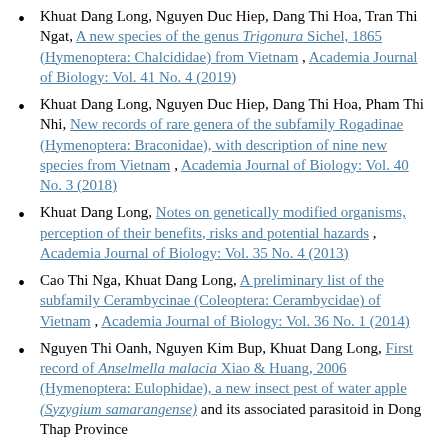Khuat Dang Long, Nguyen Duc Hiep, Dang Thi Hoa, Tran Thi Ngat, A new species of the genus Trigonura Sichel, 1865 (Hymenoptera: Chalcididae) from Vietnam , Academia Journal of Biology: Vol. 41 No. 4 (2019)
Khuat Dang Long, Nguyen Duc Hiep, Dang Thi Hoa, Pham Thi Nhi, New records of rare genera of the subfamily Rogadinae (Hymenoptera: Braconidae), with description of nine new species from Vietnam , Academia Journal of Biology: Vol. 40 No. 3 (2018)
Khuat Dang Long, Notes on genetically modified organisms, perception of their benefits, risks and potential hazards , Academia Journal of Biology: Vol. 35 No. 4 (2013)
Cao Thi Nga, Khuat Dang Long, A preliminary list of the subfamily Cerambycinae (Coleoptera: Cerambycidae) of Vietnam , Academia Journal of Biology: Vol. 36 No. 1 (2014)
Nguyen Thi Oanh, Nguyen Kim Bup, Khuat Dang Long, First record of Anselmella malacia Xiao & Huang, 2006 (Hymenoptera: Eulophidae), a new insect pest of water apple (Syzygium samarangense) and its associated parasitoid in Dong Thap Province